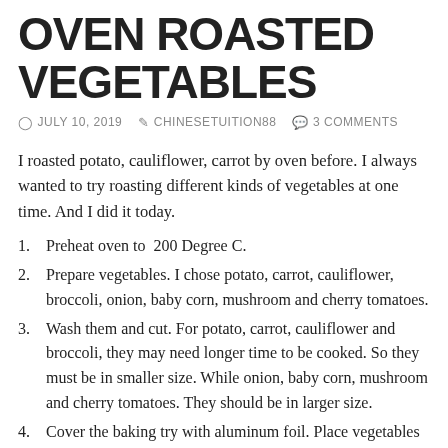OVEN ROASTED VEGETABLES
JULY 10, 2019  CHINESETUITION88  3 COMMENTS
I roasted potato, cauliflower, carrot by oven before. I always wanted to try roasting different kinds of vegetables at one time. And I did it today.
Preheat oven to  200 Degree C.
Prepare vegetables. I chose potato, carrot, cauliflower, broccoli, onion, baby corn, mushroom and cherry tomatoes.
Wash them and cut. For potato, carrot, cauliflower and broccoli, they may need longer time to be cooked. So they must be in smaller size. While onion, baby corn, mushroom and cherry tomatoes. They should be in larger size.
Cover the baking try with aluminum foil. Place vegetables over it. Drizzle olive oil. Sprinkle salt and black pepper. I also spread some dried herbs. And add 2 cloves of garlic. Gently